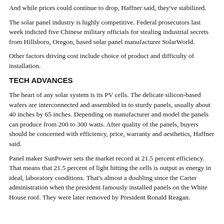And while prices could continue to drop, Haffner said, they've stabilized.
The solar panel industry is highly competitive. Federal prosecutors last week indicted five Chinese military officials for stealing industrial secrets from Hillsboro, Oregon, based solar panel manufacturer SolarWorld.
Other factors driving cost include choice of product and difficulty of installation.
TECH ADVANCES
The heart of any solar system is its PV cells. The delicate silicon-based wafers are interconnected and assembled in to sturdy panels, usually about 40 inches by 65 inches. Depending on manufacturer and model the panels can produce from 200 to 300 watts. After quality of the panels, buyers should be concerned with efficiency, price, warranty and aesthetics, Haffner said.
Panel maker SunPower sets the market record at 21.5 percent efficiency. That means that 21.5 percent of light hitting the cells is output as energy in ideal, laboratory conditions. That's almost a doubling since the Carter administration when the president famously installed panels on the White House roof. They were later removed by President Ronald Reagan.